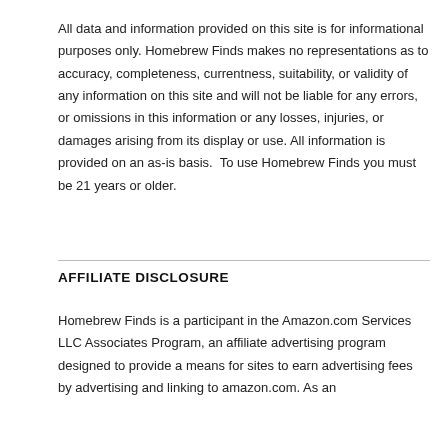All data and information provided on this site is for informational purposes only. Homebrew Finds makes no representations as to accuracy, completeness, currentness, suitability, or validity of any information on this site and will not be liable for any errors, or omissions in this information or any losses, injuries, or damages arising from its display or use. All information is provided on an as-is basis.  To use Homebrew Finds you must be 21 years or older.
AFFILIATE DISCLOSURE
Homebrew Finds is a participant in the Amazon.com Services LLC Associates Program, an affiliate advertising program designed to provide a means for sites to earn advertising fees by advertising and linking to amazon.com. As an